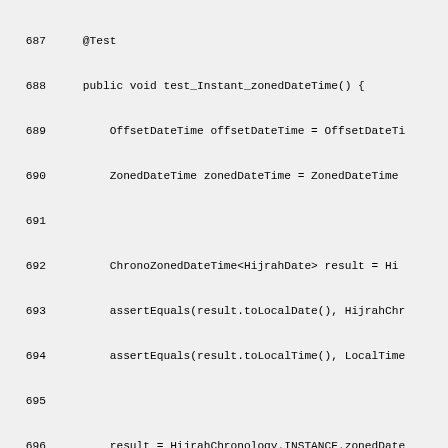Source code listing lines 687-716, Java test code for date/time operations including test_Instant_zonedDateTime() and data_localDateTime() methods.